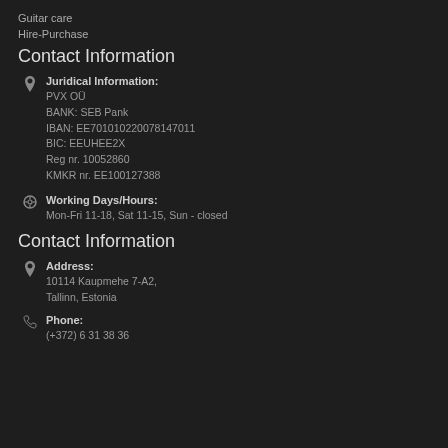Guitar care
Hire-Purchase
Contact Information
Juridical Information: PVX OÜ BANK: SEB Pank IBAN: EE701010220078147011 BIC: EEUHEE2X Reg nr. 10052860 KMKR nr. EE100127388
Working Days/Hours: Mon-Fri 11-18, Sat 11-15, Sun - closed
Contact Information
Address: 10114 Kaupmehe 7-A2, Tallinn, Estonia
Phone: (+372) 6 31 38 36